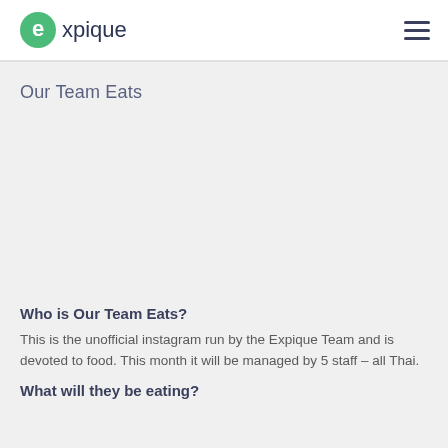[Figure (logo): Expique logo — green circle with 'e' and text 'expique' in dark navy]
Our Team Eats
[Figure (photo): Image placeholder area (content not visible)]
Who is Our Team Eats?
This is the unofficial instagram run by the Expique Team and is devoted to food. This month it will be managed by 5 staff – all Thai.
What will they be eating?